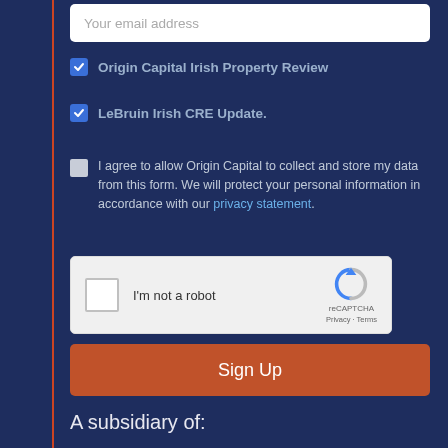Your email address
☑ Origin Capital Irish Property Review
☑ LeBruin Irish CRE Update.
I agree to allow Origin Capital to collect and store my data from this form. We will protect your personal information in accordance with our privacy statement.
[Figure (other): reCAPTCHA widget with checkbox labeled I'm not a robot]
Sign Up
A subsidiary of: